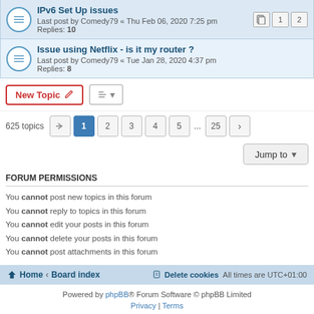IPv6 Set Up issues — Last post by Comedy79 « Thu Feb 06, 2020 7:25 pm — Replies: 10
Issue using Netflix - is it my router ? — Last post by Comedy79 « Tue Jan 28, 2020 4:37 pm — Replies: 8
New Topic | Sort | 625 topics | 1 2 3 4 5 ... 25 > | Jump to
FORUM PERMISSIONS
You cannot post new topics in this forum
You cannot reply to topics in this forum
You cannot edit your posts in this forum
You cannot delete your posts in this forum
You cannot post attachments in this forum
Home · Board index | Delete cookies | All times are UTC+01:00
Powered by phpBB® Forum Software © phpBB Limited | Privacy | Terms